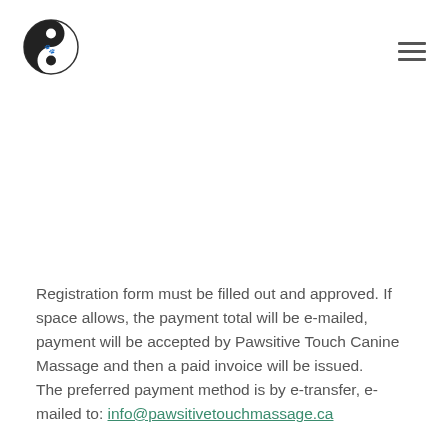[Pawsitive Touch Canine Massage logo and navigation]
Registration form must be filled out and approved. If space allows, the payment total will be e-mailed, payment will be accepted by Pawsitive Touch Canine Massage and then a paid invoice will be issued.
The preferred payment method is by e-transfer, e-mailed to: info@pawsitivetouchmassage.ca